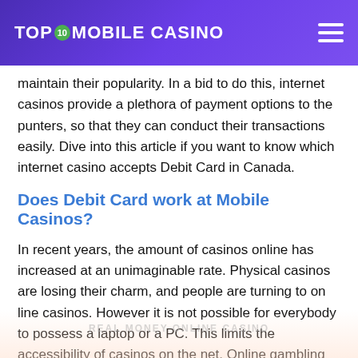TOP 10 MOBILE CASINO
maintain their popularity. In a bid to do this, internet casinos provide a plethora of payment options to the punters, so that they can conduct their transactions easily. Dive into this article if you want to know which internet casino accepts Debit Card in Canada.
Does Debit Card work at Mobile Casinos?
In recent years, the amount of casinos online has increased at an unimaginable rate. Physical casinos are losing their charm, and people are turning to on line casinos. However it is not possible for everybody to possess a laptop or a PC. This limits the accessibility of casinos on the net. Online gambling houses are providing mobile variations, to ensure there's no limitation for the people to access on line casinos. Mobile phone Gambling enterprises are more accessible for all gamblers. There is hardly anybody who